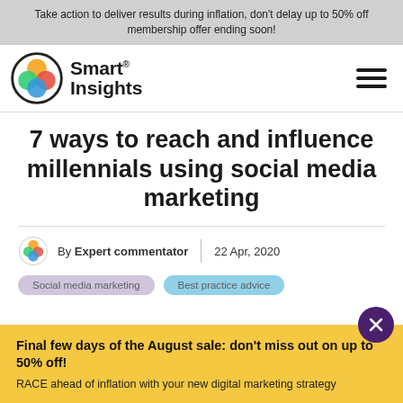Take action to deliver results during inflation, don't delay up to 50% off membership offer ending soon!
[Figure (logo): Smart Insights logo with colorful overlapping circles icon and Smart Insights text, plus hamburger menu icon]
7 ways to reach and influence millennials using social media marketing
By Expert commentator | 22 Apr, 2020
Social media marketing  Best practice advice
Final few days of the August sale: don't miss out on up to 50% off!
RACE ahead of inflation with your new digital marketing strategy